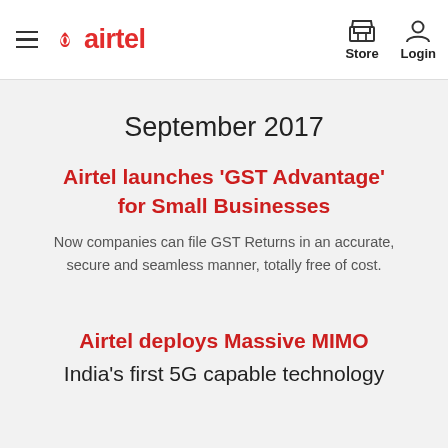Airtel — Store | Login
September 2017
Airtel launches 'GST Advantage' for Small Businesses
Now companies can file GST Returns in an accurate, secure and seamless manner, totally free of cost.
Airtel deploys Massive MIMO India's first 5G capable technology